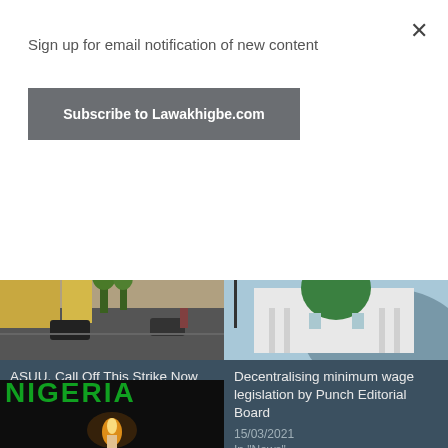Sign up for email notification of new content
Subscribe to Lawakhigbe.com
[Figure (photo): Street view with cars and buildings]
[Figure (photo): Nigerian National Assembly building with green dome]
ASUU, Call Off This Strike Now By Farooq A. Kperogi
20/08/2022
In "News"
Decentralising minimum wage legislation by Punch Editorial Board
15/03/2021
In "News"
[Figure (photo): NIGERIA text with candle flame in darkness]